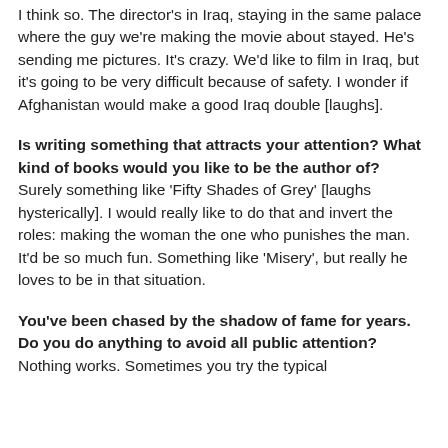I think so. The director's in Iraq, staying in the same palace where the guy we're making the movie about stayed. He's sending me pictures. It's crazy. We'd like to film in Iraq, but it's going to be very difficult because of safety. I wonder if Afghanistan would make a good Iraq double [laughs].
Is writing something that attracts your attention? What kind of books would you like to be the author of?
Surely something like 'Fifty Shades of Grey' [laughs hysterically]. I would really like to do that and invert the roles: making the woman the one who punishes the man. It'd be so much fun. Something like 'Misery', but really he loves to be in that situation.
You've been chased by the shadow of fame for years. Do you do anything to avoid all public attention?
Nothing works. Sometimes you try the typical